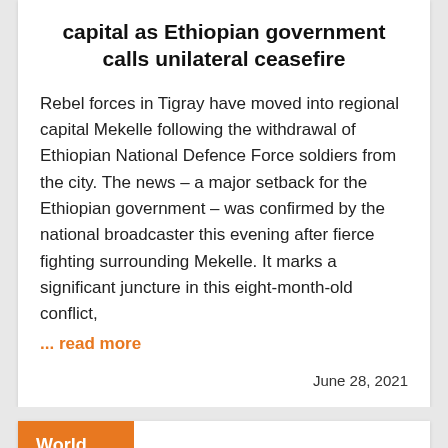capital as Ethiopian government calls unilateral ceasefire
Rebel forces in Tigray have moved into regional capital Mekelle following the withdrawal of Ethiopian National Defence Force soldiers from the city. The news – a major setback for the Ethiopian government – was confirmed by the national broadcaster this evening after fierce fighting surrounding Mekelle. It marks a significant juncture in this eight-month-old conflict,
... read more
June 28, 2021
World